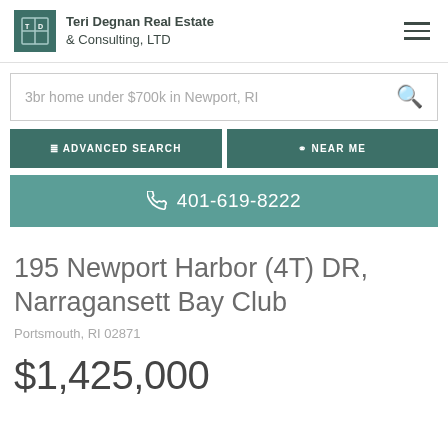Teri Degnan Real Estate & Consulting, LTD
3br home under $700k in Newport, RI
ADVANCED SEARCH
NEAR ME
401-619-8222
195 Newport Harbor (4T) DR, Narragansett Bay Club
Portsmouth, RI 02871
$1,425,000